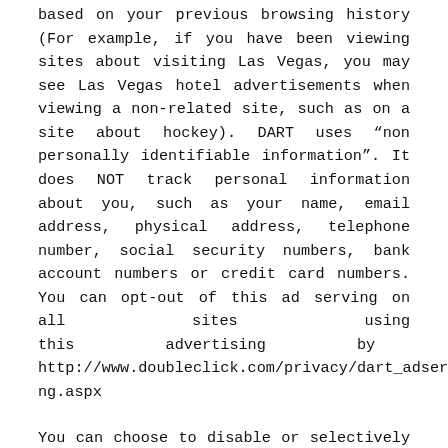based on your previous browsing history (For example, if you have been viewing sites about visiting Las Vegas, you may see Las Vegas hotel advertisements when viewing a non-related site, such as on a site about hockey). DART uses "non personally identifiable information". It does NOT track personal information about you, such as your name, email address, physical address, telephone number, social security numbers, bank account numbers or credit card numbers. You can opt-out of this ad serving on all sites using this advertising by visiting http://www.doubleclick.com/privacy/dart_adserving.aspx
You can choose to disable or selectively turn off our cookies or third-party cookies in your browser settings, or by managing preferences in programs, such as Norton Internet Security.